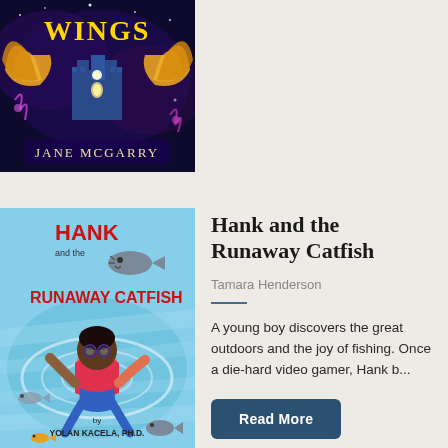[Figure (illustration): Book cover showing 'Wings' by Jane McGarry — fantasy illustration with golden wings, a mystical castle, and purple magical elements on a dark blue background. Author name 'JANE MCGARRY' displayed at bottom.]
[Figure (illustration): Book cover for 'Hank and the Runaway Catfish' by Yolan Kacela, Ph.D. — children's book illustration showing a young Black boy swimming/diving in water with catfish around him. Title text in red reads 'HANK and the RUNAWAY CATFISH'.]
Hank and the Runaway Catfish
Tamara Henderson
A young boy discovers the great outdoors and the joy of fishing. Once a die-hard video gamer, Hank b...
Read More